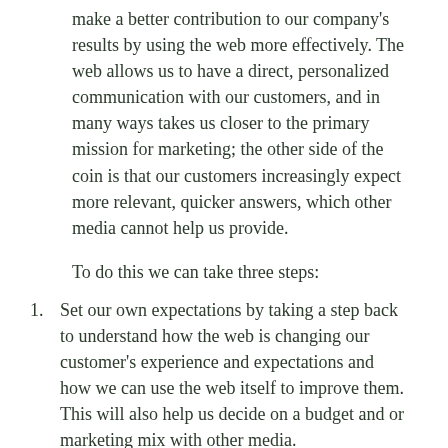make a better contribution to our company's results by using the web more effectively. The web allows us to have a direct, personalized communication with our customers, and in many ways takes us closer to the primary mission for marketing; the other side of the coin is that our customers increasingly expect more relevant, quicker answers, which other media cannot help us provide.
To do this we can take three steps:
Set our own expectations by taking a step back to understand how the web is changing our customer's experience and expectations and how we can use the web itself to improve them. This will also help us decide on a budget and or marketing mix with other media.
Set our company's internal expectations by uncovering specific opportunities and their web solutions, and establishing how stakeholders are affected by the